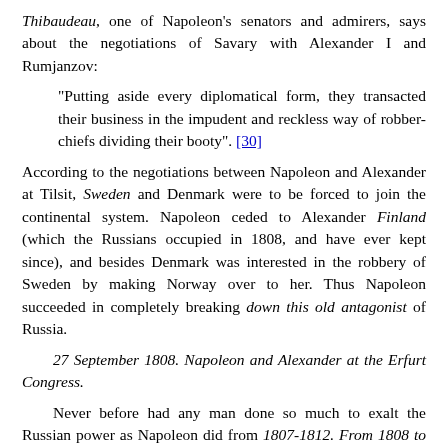Thibaudeau, one of Napoleon's senators and admirers, says about the negotiations of Savary with Alexander I and Rumjanzov:
"Putting aside every diplomatical form, they transacted their business in the impudent and reckless way of robber-chiefs dividing their booty". [30]
According to the negotiations between Napoleon and Alexander at Tilsit, Sweden and Denmark were to be forced to join the continental system. Napoleon ceded to Alexander Finland (which the Russians occupied in 1808, and have ever kept since), and besides Denmark was interested in the robbery of Sweden by making Norway over to her. Thus Napoleon succeeded in completely breaking down this old antagonist of Russia.
27 September 1808. Napoleon and Alexander at the Erfurt Congress.
Never before had any man done so much to exalt the Russian power as Napoleon did from 1807-1812. From 1808 to 1811 the Poles were consumed by Napoleon in Spain. For the first time in their history they were prostituted as the mercenaries of despotism. Of the army of 90,000, formed in the duchy, so many were despatched to Spain, that the duchy was denuded of troops when the Austrian archduke Ferdinand invaded it in 1809.